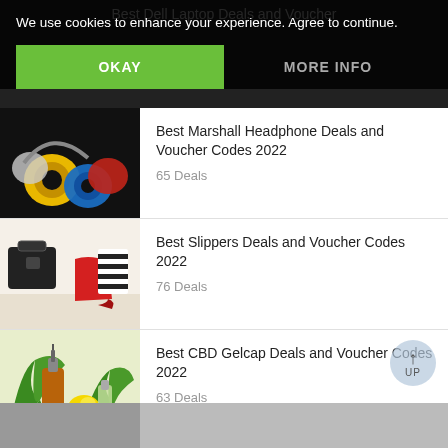Best Dell Laptop Deals and Voucher
We use cookies to enhance your experience. Agree to continue.
OKAY
MORE INFO
Best Marshall Headphone Deals and Voucher Codes 2022
65 Deals
Best Slippers Deals and Voucher Codes 2022
76 Deals
Best CBD Gelcap Deals and Voucher Codes 2022
63 Deals